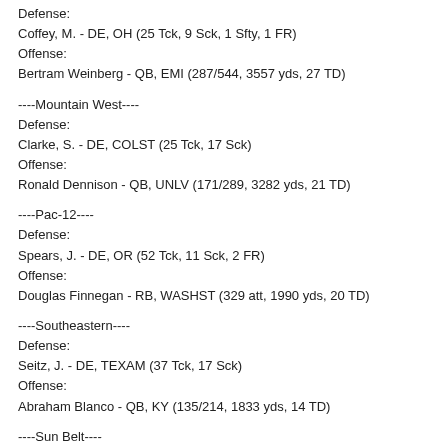Defense:
Coffey, M. - DE, OH (25 Tck, 9 Sck, 1 Sfty, 1 FR)
Offense:
Bertram Weinberg - QB, EMI (287/544, 3557 yds, 27 TD)
----Mountain West----
Defense:
Clarke, S. - DE, COLST (25 Tck, 17 Sck)
Offense:
Ronald Dennison - QB, UNLV (171/289, 3282 yds, 21 TD)
----Pac-12----
Defense:
Spears, J. - DE, OR (52 Tck, 11 Sck, 2 FR)
Offense:
Douglas Finnegan - RB, WASHST (329 att, 1990 yds, 20 TD)
----Southeastern----
Defense:
Seitz, J. - DE, TEXAM (37 Tck, 17 Sck)
Offense:
Abraham Blanco - QB, KY (135/214, 1833 yds, 14 TD)
----Sun Belt----
Defense:
Ng, D. - DE, GAST (22 Tck, 12 Sck)
Offense:
Jerry Hoffman - QB, GAST (79/133, 1587 yds, 11 TD)
All-American Team Announced